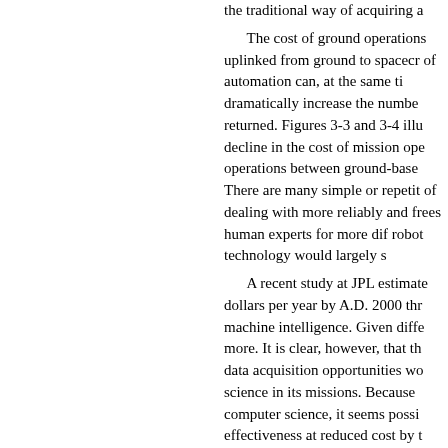the traditional way of acquiring a
The cost of ground operations uplinked from ground to spacecraft of automation can, at the same time, dramatically increase the number returned. Figures 3-3 and 3-4 illustrate decline in the cost of mission operations between ground-based There are many simple or repetitive of dealing with more reliably and frees human experts for more difficult robot technology would largely s
A recent study at JPL estimates dollars per year by A.D. 2000 through machine intelligence. Given different more. It is clear, however, that the data acquisition opportunities would science in its missions. Because computer science, it seems possible effectiveness at reduced cost by t
20
Modern computer systems, if app